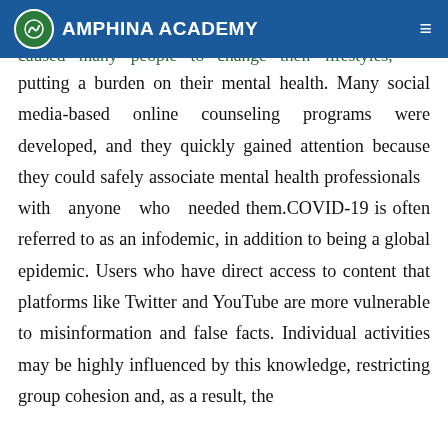AMPHINA ACADEMY
networking services. However, social isolation has caused many people to change their lifestyles, putting a burden on their mental health. Many social media-based online counseling programs were developed, and they quickly gained attention because they could safely associate mental health professionals with anyone who needed them.COVID-19 is often referred to as an infodemic, in addition to being a global epidemic. Users who have direct access to content that platforms like Twitter and YouTube are more vulnerable to misinformation and false facts. Individual activities may be highly influenced by this knowledge, restricting group cohesion and, as a result, the